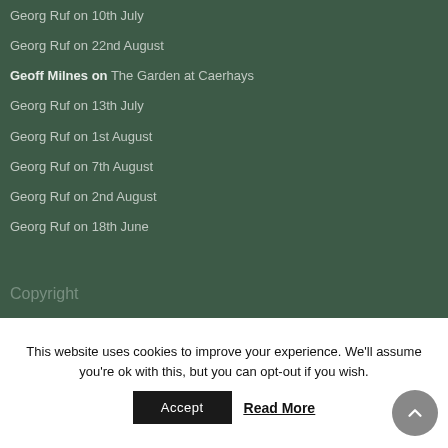Georg Ruf on 10th July
Georg Ruf on 22nd August
Geoff Milnes on The Garden at Caerhays
Georg Ruf on 13th July
Georg Ruf on 1st August
Georg Ruf on 7th August
Georg Ruf on 2nd August
Georg Ruf on 18th June
Copyright
This website uses cookies to improve your experience. We'll assume you're ok with this, but you can opt-out if you wish.
Accept
Read More